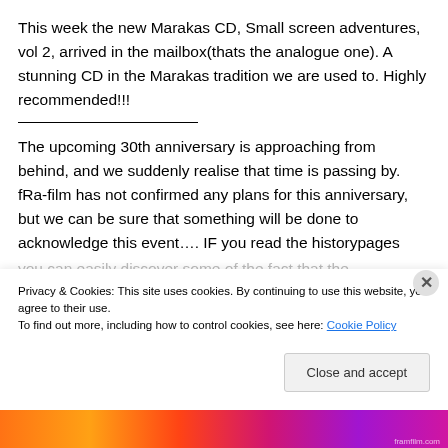This week the new Marakas CD, Small screen adventures, vol 2, arrived in the mailbox(thats the analogue one). A stunning CD in the Marakas tradition we are used to. Highly recommended!!!
The upcoming 30th anniversary is approaching from behind, and we suddenly realise that time is passing by. fRa-film has not confirmed any plans for this anniversary, but we can be sure that something will be done to acknowledge this event…. IF you read the historypages
Privacy & Cookies: This site uses cookies. By continuing to use this website, you agree to their use.
To find out more, including how to control cookies, see here: Cookie Policy